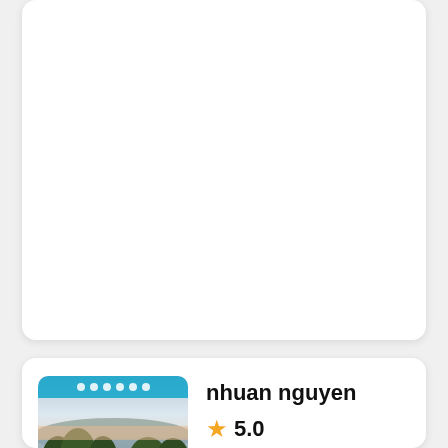[Figure (other): White card placeholder area at top of page]
[Figure (photo): Thumbnail photo showing a coastal/lakeside landscape at dusk with trees in foreground and pale sky]
nhuan nguyen
5.0